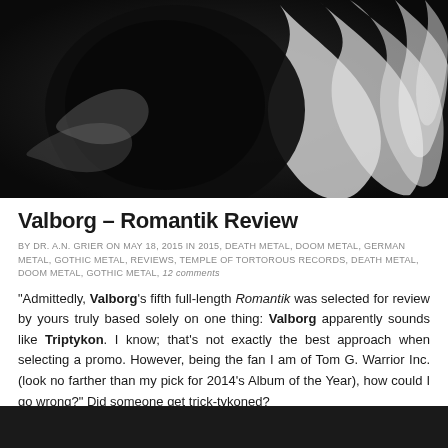[Figure (photo): Black and white close-up photograph with swirling white abstract forms/hair against a dark black background]
Valborg – Romantik Review
By DR. A.N. GRIER on May 18, 2015 in 2015, DEATH METAL, DOOM METAL, GERMAN METAL, GOTHIC METAL, REVIEWS, TEMPLE OF TORTOROUS RECORDS, DEATH METAL, DOOM METAL, GOTHIC METAL, 12 comments
"Admittedly, Valborg's fifth full-length Romantik was selected for review by yours truly based solely on one thing: Valborg apparently sounds like Triptykon. I know; that's not exactly the best approach when selecting a promo. However, being the fan I am of Tom G. Warrior Inc. (look no farther than my pick for 2014's Album of the Year), how could I go wrong?" Did someone get trick-tykoned?
[Figure (photo): Black background partial image at bottom of page]